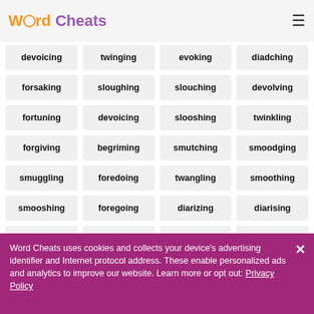Word Cheats
devoicing
twinging
evoking
diadching
forsaking
sloughing
slouching
devolving
fortuning
devoicing
slooshing
twinkling
forgiving
begriming
smutching
smoodging
smuggling
foredoing
twangling
smoothing
smooshing
foregoing
diarizing
diarising
smooching
tweedling
diapering
assagaing
Word Cheats uses cookies and collects your device's advertising identifier and Internet protocol address. These enable personalized ads and analytics to improve our website. Learn more or opt out: Privacy Policy